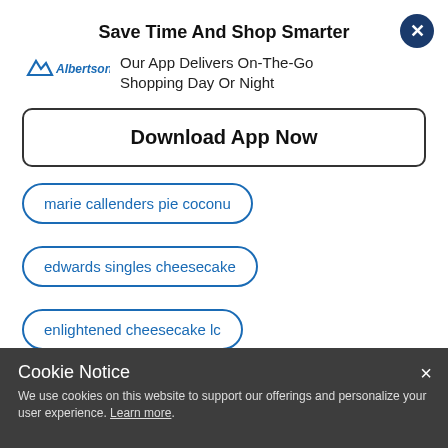Save Time And Shop Smarter
[Figure (logo): Albertsons logo with mountain peaks icon and italic brand name]
Our App Delivers On-The-Go Shopping Day Or Night
Download App Now
marie callenders pie coconu
edwards singles cheesecake
enlightened cheesecake lc
marie callenders 25 ounce pie
Cookie Notice
We use cookies on this website to support our offerings and personalize your user experience. Learn more.